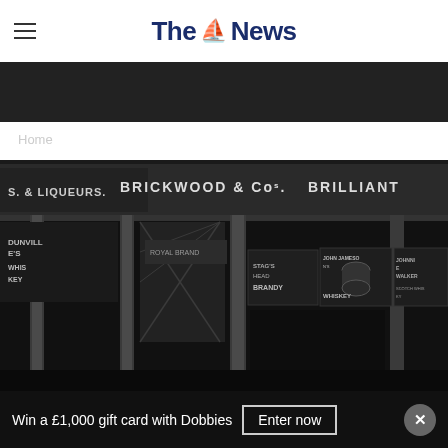The News
Home
[Figure (photo): Black and white historical photograph of a pub or off-licence storefront showing signs: 'SPIRITS & LIQUEURS', 'BRICKWOOD & Co.s BRILLIANT', 'DUNVIL[LE]S WHIS[KEY]', 'JOHN JAMESO[N] WHISKEY', 'JOHNNIE WALKER SCOTCH WHISKY', 'BRANDY', with decorative columns and a man standing in front]
Win a £1,000 gift card with Dobbies
Enter now